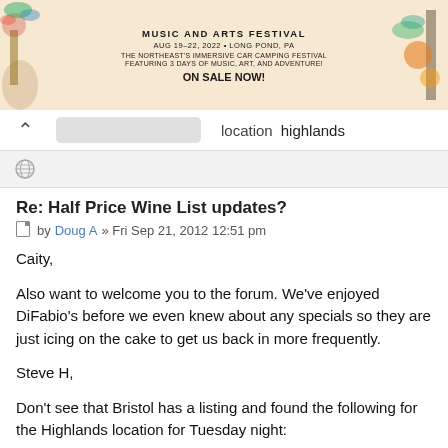[Figure (illustration): Music and Arts Festival banner advertisement showing colorful art with tropical/festival theme. Text reads: MUSIC AND ARTS FESTIVAL, AUG 19-22, 2022 • LONG POND, PA, THE NORTHEAST'S IMMERSIVE CAR CAMPING FESTIVAL FEATURING 3 DAYS OF MUSIC, ART, AND ADVENTURE! ON SALE NOW!]
location  highlands
Re: Half Price Wine List updates?
by Doug A » Fri Sep 21, 2012 12:51 pm
Caity,
Also want to welcome you to the forum. We've enjoyed DiFabio's before we even knew about any specials so they are just icing on the cake to get us back in more frequently.
Steve H,
Don't see that Bristol has a listing and found the following for the Highlands location for Tuesday night:
http://www.bristolbarandgrille.com/2012/07/bristol-highlands-tuesday-night-12-price-wine/